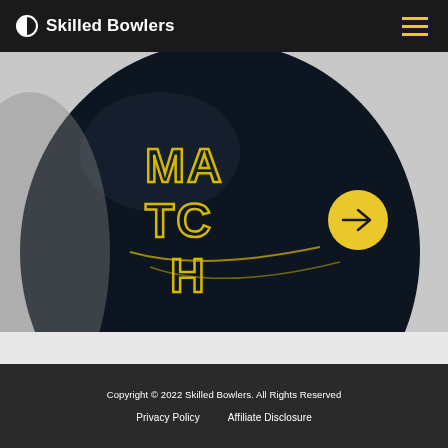Skilled Bowlers
[Figure (photo): Close-up of a black bowling ball with yellow outlined text reading 'Match Up' on a gray background. A yellow circular arrow button is visible on the right side.]
Copyright © 2022 Skilled Bowlers. All Rights Reserved
Privacy Policy   Affiliate Disclosure